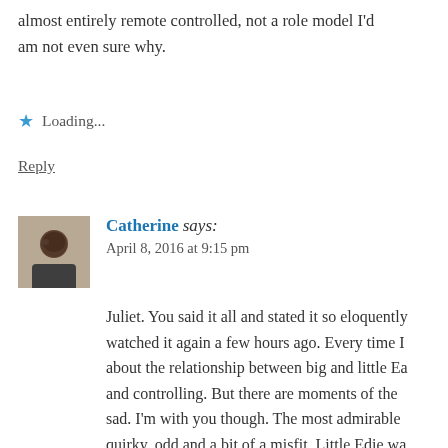almost entirely remote controlled, not a role model I'd am not even sure why.
Loading...
Reply
Catherine says: April 8, 2016 at 9:15 pm
Juliet. You said it all and stated it so eloquently watched it again a few hours ago. Every time I about the relationship between big and little Ea and controlling. But there are moments of the sad. I'm with you though. The most admirable quirky, odd and a bit of a misfit. Little Edie wa wonderfully admirable woman with her own s "cough" stars these days are devoid of any pe Cut your hair and cry and you get an Oscar. So